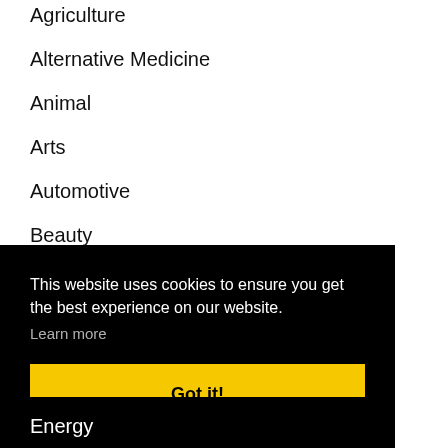Agriculture
Alternative Medicine
Animal
Arts
Automotive
Beauty
Booking
Business
This website uses cookies to ensure you get the best experience on our website.
Learn more
Got it!
Energy